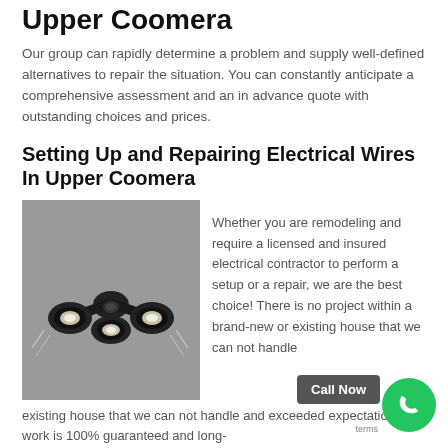Upper Coomera
Our group can rapidly determine a problem and supply well-defined alternatives to repair the situation. You can constantly anticipate a comprehensive assessment and an in advance quote with outstanding choices and prices.
Setting Up and Repairing Electrical Wires In Upper Coomera
[Figure (photo): Photo of a black triple-head outdoor security floodlight with motion sensor on a grey background]
Whether you are remodeling and require a licensed and insured electrical contractor to perform a setup or a repair, we are the best choice! There is no project within a brand-new or existing house that we can not handle and exceeded expectations. All work is 100% guaranteed and long-term service plans are offered for extra piece of mind.